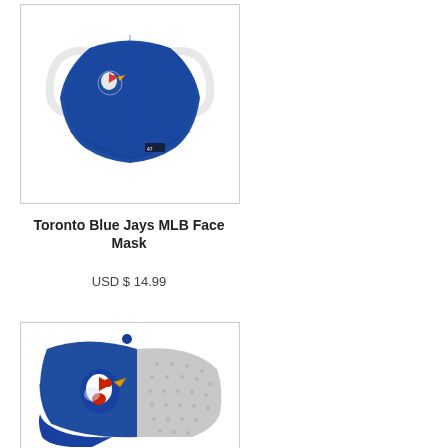[Figure (photo): Toronto Blue Jays MLB face mask, royal blue with white ear loops and Blue Jays logo on the front, shown on white background with light border]
Toronto Blue Jays MLB Face Mask
USD $ 14.99
[Figure (photo): Toronto Blue Jays MLB trucker cap, royal blue front with white mesh back and Blue Jays logo, partially visible at bottom of page]